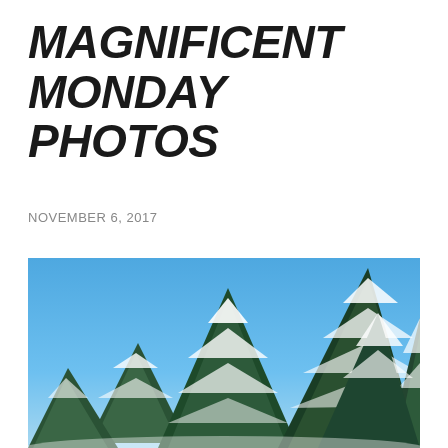MAGNIFICENT MONDAY PHOTOS
NOVEMBER 6, 2017
[Figure (photo): Snow-covered evergreen spruce/fir trees against a clear blue sky, photographed from below looking up at the treetops. The trees have dark green needles dusted with white snow on their branches.]